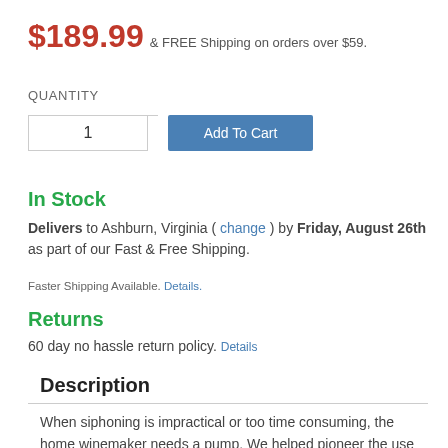$189.99 & FREE Shipping on orders over $59.
QUANTITY
1
Add To Cart
In Stock
Delivers to Ashburn, Virginia ( change ) by Friday, August 26th as part of our Fast & Free Shipping.
Faster Shipping Available. Details.
Returns
60 day no hassle return policy. Details
Description
When siphoning is impractical or too time consuming, the home winemaker needs a pump. We helped pioneer the use of diaphragm pumps as an economical, gentle method to move small volumes of wine.